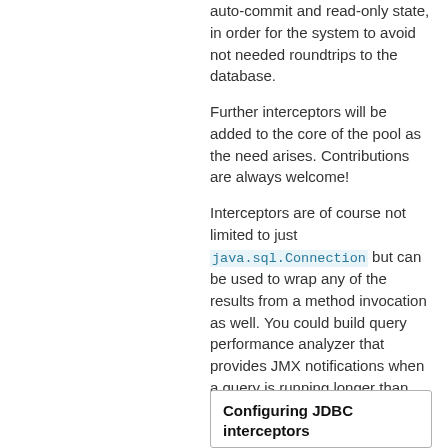auto-commit and read-only state, in order for the system to avoid not needed roundtrips to the database.
Further interceptors will be added to the core of the pool as the need arises. Contributions are always welcome!
Interceptors are of course not limited to just java.sql.Connection but can be used to wrap any of the results from a method invocation as well. You could build query performance analyzer that provides JMX notifications when a query is running longer than the expected time.
Configuring JDBC interceptors